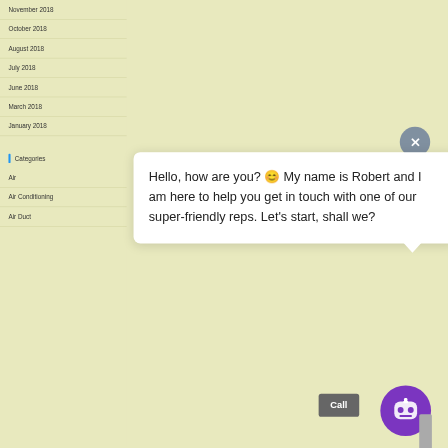November 2018
October 2018
August 2018
July 2018
June 2018
March 2018
January 2018
Categories
Air
Air Conditioning
Air Duct
[Figure (screenshot): Chat popup with close button (X) and robot icon. Message reads: Hello, how are you? 😊 My name is Robert and I am here to help you get in touch with one of our super-friendly reps. Let's start, shall we? Also shows a Call button and chatbot launcher icon.]